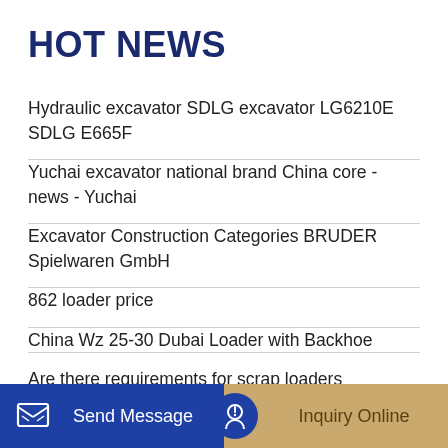HOT NEWS
Hydraulic excavator SDLG excavator LG6210E SDLG E665F
Yuchai excavator national brand China core - news - Yuchai
Excavator Construction Categories BRUDER Spielwaren GmbH
862 loader price
China Wz 25-30 Dubai Loader with Backhoe
Are there requirements for scrap loaders
Send Message
Inquiry Online